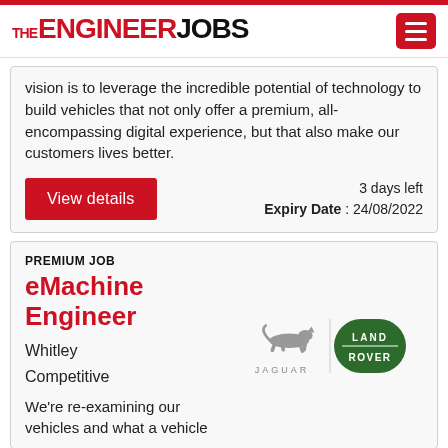THE ENGINEER JOBS
vision is to leverage the incredible potential of technology to build vehicles that not only offer a premium, all-encompassing digital experience, but that also make our customers lives better.
View details
3 days left
Expiry Date : 24/08/2022
PREMIUM JOB
eMachine Engineer
Whitley
Competitive
We're re-examining our vehicles and what a vehicle
[Figure (logo): Jaguar and Land Rover logos side by side]